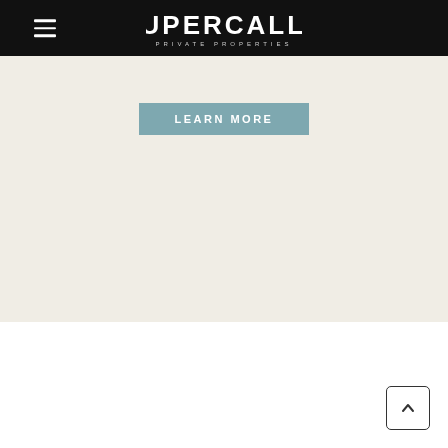[Figure (logo): Supercalla Private Properties logo — white text on black background navigation bar with hamburger menu icon on left]
LEARN MORE
[Figure (other): Back to top button with upward chevron arrow, rounded rectangle border, white background, positioned bottom right]